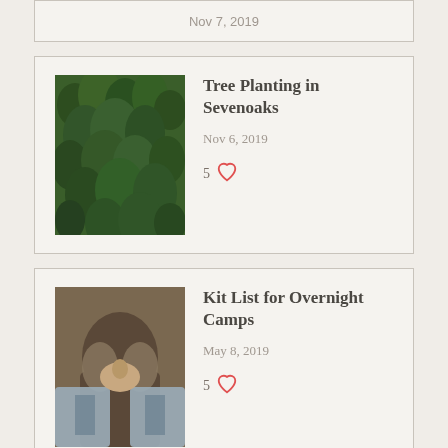Nov 7, 2019
Tree Planting in Sevenoaks
Nov 6, 2019
5 ♡
Kit List for Overnight Camps
May 8, 2019
5 ♡
Wildeye Adventures interview with Wellness TV | Outdoor Education &...
[Figure (logo): Wellness TV neu logo, purple text]